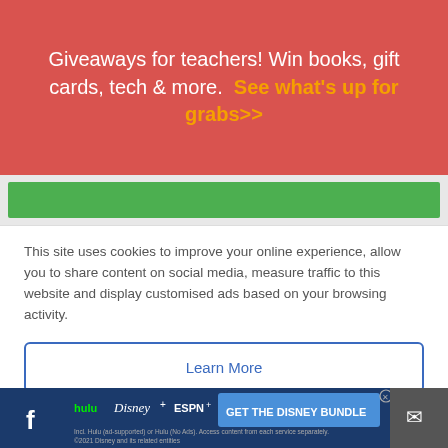Giveaways for teachers! Win books, gift cards, tech & more. See what's up for grabs>>
[Figure (other): Green horizontal bar element]
This site uses cookies to improve your online experience, allow you to share content on social media, measure traffic to this website and display customised ads based on your browsing activity.
Learn More
Accept
12. What do you get when you drop a piano on an army base?
[Figure (other): Disney Bundle advertisement banner with Hulu, Disney+, ESPN+ logos and GET THE DISNEY BUNDLE call to action]